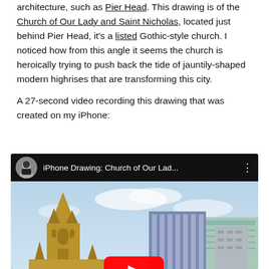architecture, such as Pier Head. This drawing is of the Church of Our Lady and Saint Nicholas, located just behind Pier Head, it's a listed Gothic-style church. I noticed how from this angle it seems the church is heroically trying to push back the tide of jauntily-shaped modern highrises that are transforming this city.

A 27-second video recording this drawing that was created on my iPhone:
[Figure (screenshot): Embedded YouTube video thumbnail showing an iPhone drawing of the Church of Our Lady and Saint Nicholas — a golden-colored Gothic church tower at left with modern highrises behind it against a blue sky. Title bar shows 'iPhone Drawing: Church of Our Lad...' with a circular avatar.]